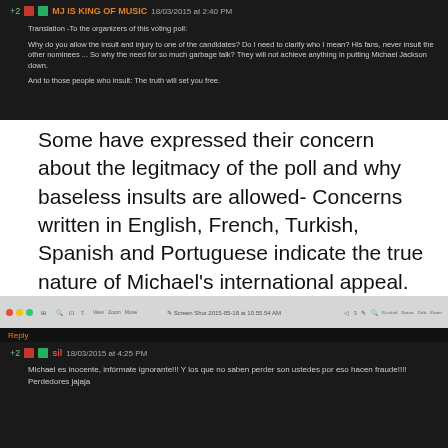[Figure (screenshot): Screenshot of a dark-themed comment section. User 'MJ is KING OF MUSIC' posted on 18/03/2015 at 2:40 PM. Comment is a translation addressing poll organizers about insults to a candidate, referencing Michael Jackson fans and garbage talk.]
Some have expressed their concern about the legitmacy of the poll and why baseless insults are allowed- Concerns written in English, French, Turkish, Spanish and Portuguese indicate the true nature of Michael’s international appeal.
[Figure (screenshot): Screenshot of a dark-themed comment section with Mac OS X toolbar. Shows a Reply section with user 'sil' posting on 18/03/2015 at 4:25 PM in Spanish: 'Michael es inocente, infórmate ignorante!!! Y los que no saben perder son ustedes por eso hacen fraude!!!! Perdedores jajaja']